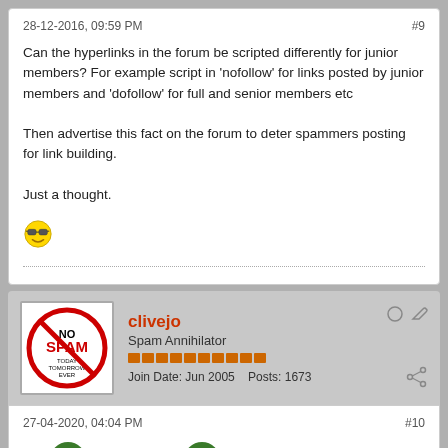28-12-2016, 09:59 PM
#9
Can the hyperlinks in the forum be scripted differently for junior members? For example script in 'nofollow' for links posted by junior members and 'dofollow' for full and senior members etc

Then advertise this fact on the forum to deter spammers posting for link building.

Just a thought.
[Figure (illustration): Cool/sunglasses smiley emoji]
clivejo
Spam Annihilator
[Figure (illustration): No Spam avatar image with red circle-slash over SPAM text]
Join Date: Jun 2005    Posts: 1673
27-04-2020, 04:04 PM
#10
[Figure (illustration): Two pixel-art alien/goblin emoji characters]